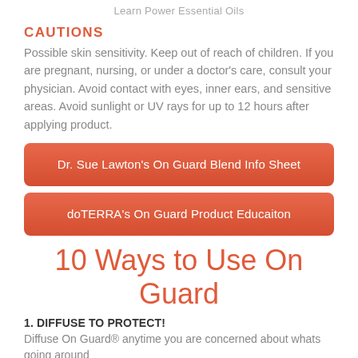Learn Power Essential Oils
CAUTIONS
Possible skin sensitivity. Keep out of reach of children. If you are pregnant, nursing, or under a doctor's care, consult your physician. Avoid contact with eyes, inner ears, and sensitive areas. Avoid sunlight or UV rays for up to 12 hours after applying product.
[Figure (other): Orange rounded rectangle button labeled: Dr. Sue Lawton's On Guard Blend Info Sheet]
[Figure (other): Orange rounded rectangle button labeled: doTERRA's On Guard Product Educaiton]
10 Ways to Use On Guard
1. DIFFUSE TO PROTECT! Diffuse On Guard® anytime you are concerned about whats going around